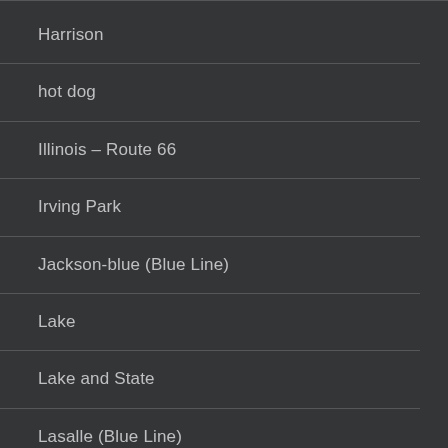Harrison
hot dog
Illinois – Route 66
Irving Park
Jackson-blue (Blue Line)
Lake
Lake and State
Lasalle (Blue Line)
Lasalle/van Buren
Lawrence, Argyle
Logan Square